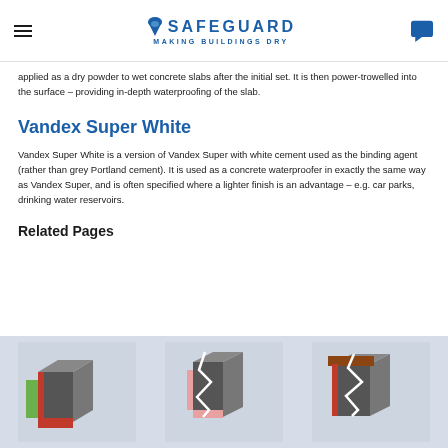SAFEGUARD MAKING BUILDINGS DRY
applied as a dry powder to wet concrete slabs after the initial set. It is then power-trowelled into the surface – providing in-depth waterproofing of the slab.
Vandex Super White
Vandex Super White is a version of Vandex Super with white cement used as the binding agent (rather than grey Portland cement). It is used as a concrete waterproofer in exactly the same way as Vandex Super, and is often specified where a lighter finish is an advantage – e.g. car parks, drinking water reservoirs.
Related Pages
[Figure (illustration): Three isometric engineering cross-section diagrams showing waterproofing system layers in building construction details, displayed side by side against a light blue-grey background.]